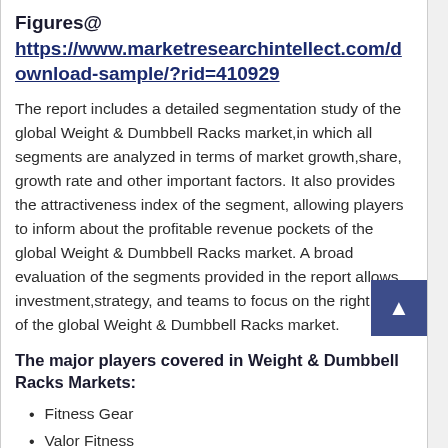Figures@ https://www.marketresearchintellect.com/download-sample/?rid=410929
The report includes a detailed segmentation study of the global Weight & Dumbbell Racks market,in which all segments are analyzed in terms of market growth,share, growth rate and other important factors. It also provides the attractiveness index of the segment, allowing players to inform about the profitable revenue pockets of the global Weight & Dumbbell Racks market. A broad evaluation of the segments provided in the report allows investment,strategy, and teams to focus on the right areas of the global Weight & Dumbbell Racks market.
The major players covered in Weight & Dumbbell Racks Markets:
Fitness Gear
Valor Fitness
Rage